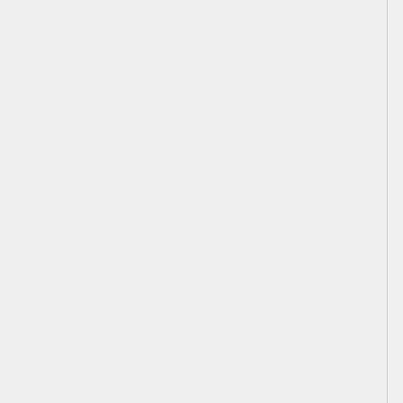George Washington, The Warrior on the History channel. He did it right. he hated the job, and was glad to leave. and never returned to public service!
I for one will VOTE, and i will vote any and every incumbent OUT!
As i am reminded that our soldiers fight for our right to participate in a democratic election.
The congressional THUGS who sang God Bless America after 9/11 on TV are the same thugs who can't seem to deal